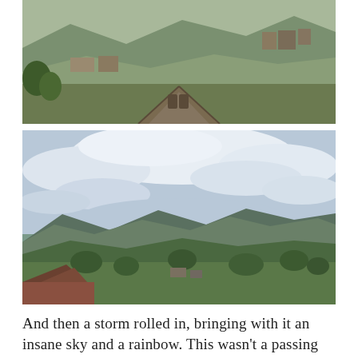[Figure (photo): Mountain landscape with green hills, buildings in the background, and a rooftop of a house with a peaked gable in the foreground.]
[Figure (photo): Wide panoramic view of mountains under a dramatic cloudy sky, with green valley and rooftops in the foreground.]
And then a storm rolled in, bringing with it an insane sky and a rainbow. This wasn't a passing